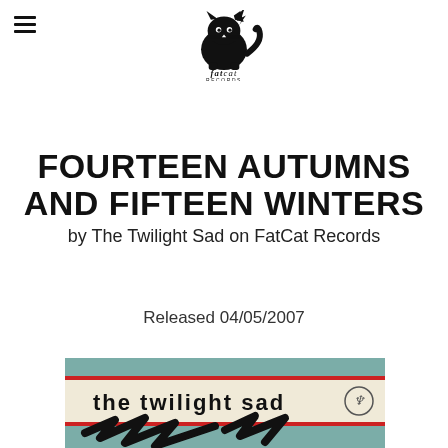[Figure (logo): FatCat Records logo — black cat silhouette with lightning bolt, text 'fatcat RECORDS' below]
FOURTEEN AUTUMNS AND FIFTEEN WINTERS
by The Twilight Sad on FatCat Records
Released 04/05/2007
[Figure (photo): Album artwork for 'Fourteen Autumns and Fifteen Winters' by The Twilight Sad — teal/green background with cream band across middle reading 'the twilight sad' in bold black text, small logo on right, red lines above and below the cream band, black abstract shapes at bottom]